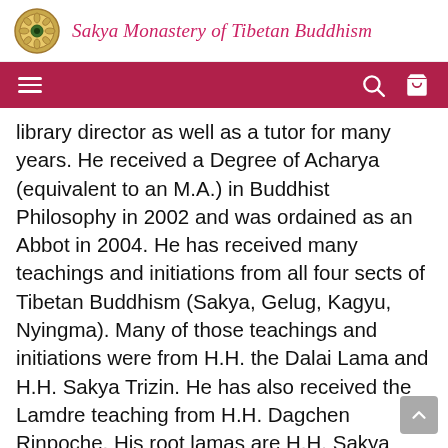Sakya Monastery of Tibetan Buddhism
library director as well as a tutor for many years. He received a Degree of Acharya (equivalent to an M.A.) in Buddhist Philosophy in 2002 and was ordained as an Abbot in 2004. He has received many teachings and initiations from all four sects of Tibetan Buddhism (Sakya, Gelug, Kagyu, Nyingma). Many of those teachings and initiations were from H.H. the Dalai Lama and H.H. Sakya Trizin. He has also received the Lamdre teaching from H.H. Dagchen Rinpoche. His root lamas are H.H. Sakya Trizin, H.H. Luding Khen Rinpoche, and H.H. Dagchen Rinpoche. At Sakya Monastery, Khenpo Jampa teaches intermediate and advanced level